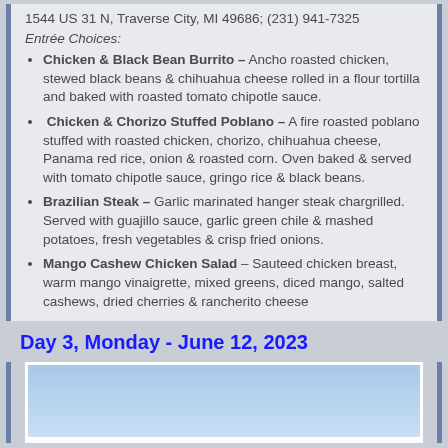1544 US 31 N, Traverse City, MI 49686; (231) 941-7325
Entrée Choices:
Chicken & Black Bean Burrito – Ancho roasted chicken, stewed black beans & chihuahua cheese rolled in a flour tortilla and baked with roasted tomato chipotle sauce.
Chicken & Chorizo Stuffed Poblano – A fire roasted poblano stuffed with roasted chicken, chorizo, chihuahua cheese, Panama red rice, onion & roasted corn. Oven baked & served with tomato chipotle sauce, gringo rice & black beans.
Brazilian Steak – Garlic marinated hanger steak chargrilled. Served with guajillo sauce, garlic green chile & mashed potatoes, fresh vegetables & crisp fried onions.
Mango Cashew Chicken Salad – Sauteed chicken breast, warm mango vinaigrette, mixed greens, diced mango, salted cashews, dried cherries & rancherito cheese
Day 3, Monday - June 12, 2023
[Figure (photo): Blue sky gradient photo]